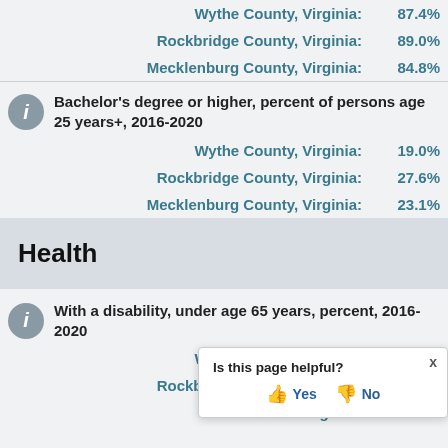Wythe County, Virginia: 87.4%
Rockbridge County, Virginia: 89.0%
Mecklenburg County, Virginia: 84.8%
Bachelor's degree or higher, percent of persons age 25 years+, 2016-2020
Wythe County, Virginia: 19.0%
Rockbridge County, Virginia: 27.6%
Mecklenburg County, Virginia: 23.1%
Health
With a disability, under age 65 years, percent, 2016-2020
Wythe County, Virginia: 13.8%
Rockbridge County, Virginia: 12.7%
Mecklenburg County, Virginia: (partially visible)